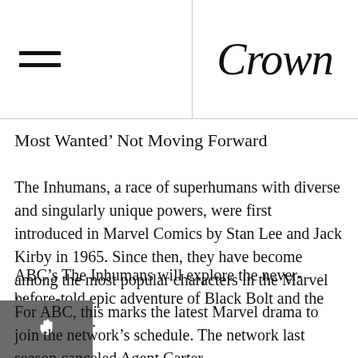Crown
Most Wanted' Not Moving Forward
The Inhumans, a race of superhumans with diverse and singularly unique powers, were first introduced in Marvel Comics by Stan Lee and Jack Kirby in 1965. Since then, they have become among the most popular characters in the Marvel Universe.
ABC's The Inhumans will explore the never-before-told epic adventure of Black Bolt and the royal family.
For ABC, this marks the latest Marvel drama to join the network's schedule. The network last season canceled Agent Carter